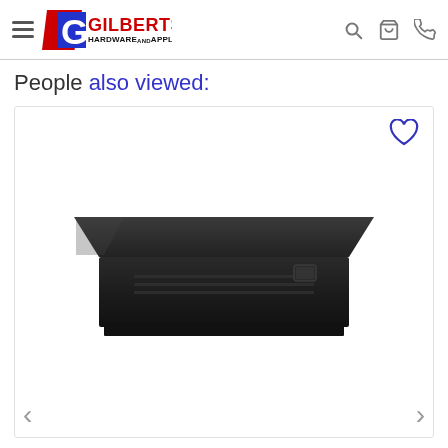Gilberts Hardware and Appliance
People also viewed:
[Figure (photo): Black under-cabinet range hood kitchen appliance shown in a product card with a heart/wishlist icon in the upper right corner.]